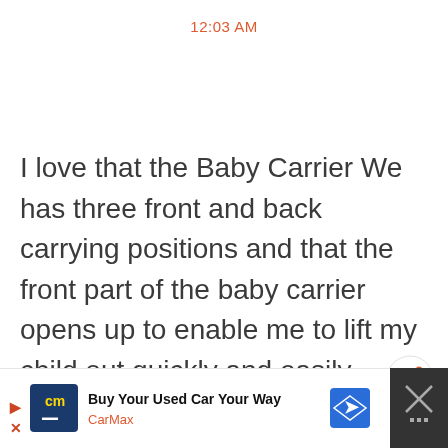12:03 AM
I love that the Baby Carrier We has three front and back carrying positions and that the front part of the baby carrier opens up to enable me to lift my child out quickly and easily.
jweezie43[at]gmail[dot]com
[Figure (other): Share button icon (circular button with share symbol)]
[Figure (other): CarMax advertisement banner: 'Buy Your Used Car Your Way' with CarMax logo and navigation arrow icon. Also shows close button on right side.]